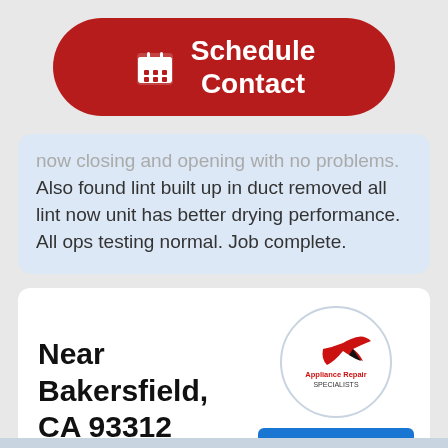[Figure (other): Red rounded rectangle button with calendar icon and text 'Schedule Contact']
now closing and opening with no problems. Also found lint built up in duct removed all lint now unit has better drying performance. All ops testing normal. Job complete.
Near Bakersfield, CA 93312
[Figure (logo): Appliance Repair Specialists logo in a circle]
Dane